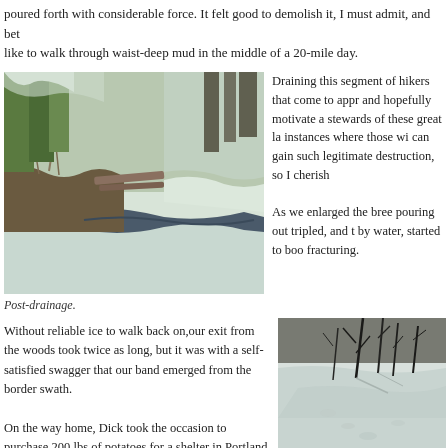poured forth with considerable force. It felt good to demolish it, I must admit, and bet like to walk through waist-deep mud in the middle of a 20-mile day.
[Figure (photo): Post-drainage photo showing a frozen/icy stream or pond in a snowy wooded area, with logs and brush visible.]
Post-drainage.
Draining this segment of hikers that come to appr and hopefully motivate a stewards of these great la instances where those wi can gain such legitimate destruction, so I cherish
As we enlarged the bree pouring out tripled, and t by water, started to boo fracturing.
Without reliable ice to walk back on,our exit from the woods took twice as long, but it was with a self-satisfied swagger that our band emerged from the border swath.
On the way home, Dick took the occasion to purchase 200 lbs of potatoes for a shelter in Portland,
[Figure (photo): Photo of a snowy flat area with bare dark tree branches or sticks protruding from snow, viewed from above.]